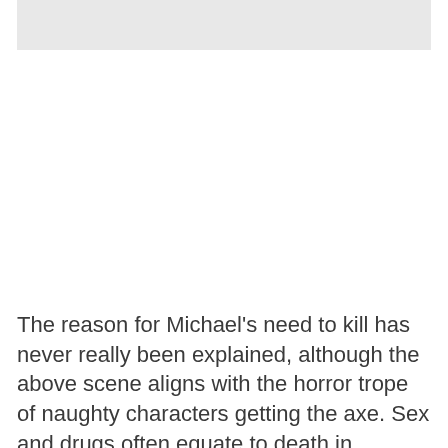[Figure (photo): Partial image at top of page, gray/light colored background visible]
The reason for Michael's need to kill has never really been explained, although the above scene aligns with the horror trope of naughty characters getting the axe. Sex and drugs often equate to death in classics, which is seen when Halloween kills off Laurie's friends